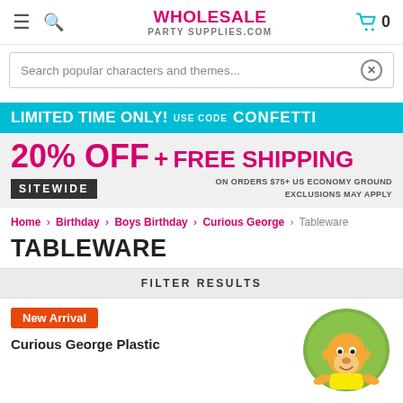WHOLESALE PARTY SUPPLIES.COM
Search popular characters and themes...
[Figure (infographic): Promotional banner: LIMITED TIME ONLY! USE CODE CONFETTI — 20% OFF + FREE SHIPPING SITEWIDE ON ORDERS $75+ US ECONOMY GROUND EXCLUSIONS MAY APPLY]
Home > Birthday > Boys Birthday > Curious George > Tableware
TABLEWARE
FILTER RESULTS
New Arrival
Curious George Plastic